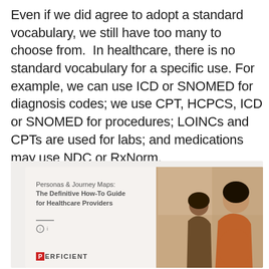Even if we did agree to adopt a standard vocabulary, we still have too many to choose from. In healthcare, there is no standard vocabulary for a specific use. For example, we can use ICD or SNOMED for diagnosis codes; we use CPT, HCPCS, ICD or SNOMED for procedures; LOINCs and CPTs are used for labs; and medications may use NDC or RxNorm.
[Figure (other): Book cover thumbnail for 'Personas & Journey Maps: The Definitive How-To Guide for Healthcare Providers' by Perficient, showing two women (one pregnant) on the right side of the cover.]